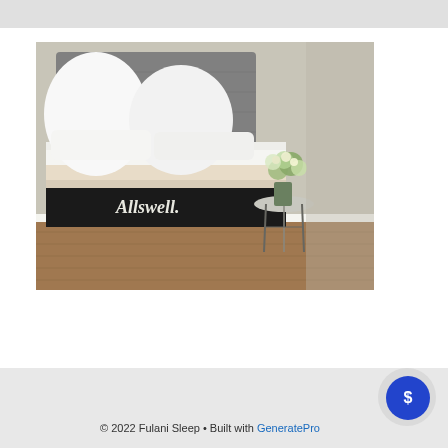[Figure (photo): Photo of an Allswell mattress on a bed frame with white pillows and a cream-colored mattress topper. A small table with flowers sits beside the bed. The black mattress base has the 'Allswell.' logo in white text.]
© 2022 Fulani Sleep • Built with GeneratePro